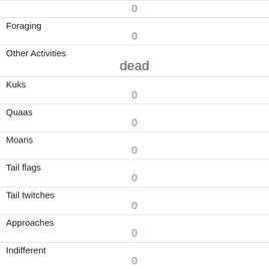| Field | Value |
| --- | --- |
|  | 0 |
| Foraging | 0 |
| Other Activities | dead |
| Kuks | 0 |
| Quaas | 0 |
| Moans | 0 |
| Tail flags | 0 |
| Tail twitches | 0 |
| Approaches | 0 |
| Indifferent | 0 |
| Runs from | 1 |